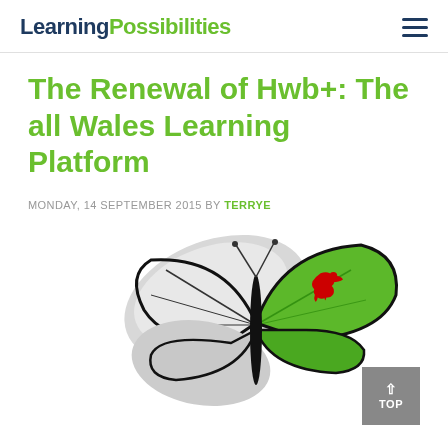Learning Possibilities
The Renewal of Hwb+: The all Wales Learning Platform
MONDAY, 14 SEPTEMBER 2015 BY TERRYE
[Figure (photo): A butterfly with wings patterned in the Welsh flag colors — green, white, and red dragon — on a white background.]